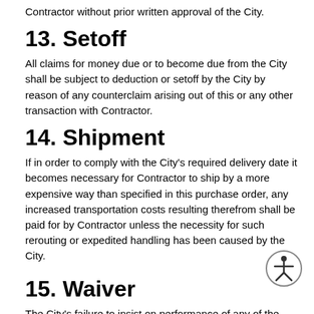Contractor without prior written approval of the City.
13. Setoff
All claims for money due or to become due from the City shall be subject to deduction or setoff by the City by reason of any counterclaim arising out of this or any other transaction with Contractor.
14. Shipment
If in order to comply with the City's required delivery date it becomes necessary for Contractor to ship by a more expensive way than specified in this purchase order, any increased transportation costs resulting therefrom shall be paid for by Contractor unless the necessity for such rerouting or expedited handling has been caused by the City.
15. Waiver
The City's failure to insist on performance of any of the terms or conditions herein or to exercise any right or privilege or the City's